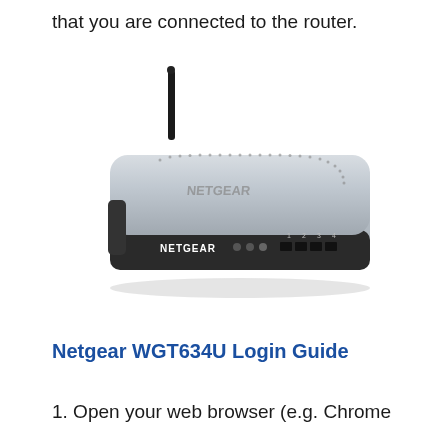that you are connected to the router.
[Figure (photo): Photo of a Netgear WGT634U wireless router with a black antenna on top, silver and black casing, showing the front panel with NETGEAR branding, indicator lights, and numbered Ethernet ports 1-4.]
Netgear WGT634U Login Guide
1.  Open your web browser (e.g. Chrome